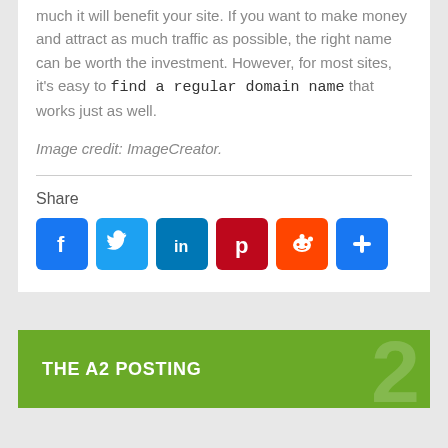much it will benefit your site. If you want to make money and attract as much traffic as possible, the right name can be worth the investment. However, for most sites, it’s easy to find a regular domain name that works just as well.
Image credit: ImageCreator.
Share
[Figure (other): Social share buttons: Facebook, Twitter, LinkedIn, Pinterest, Reddit, More]
THE A2 POSTING